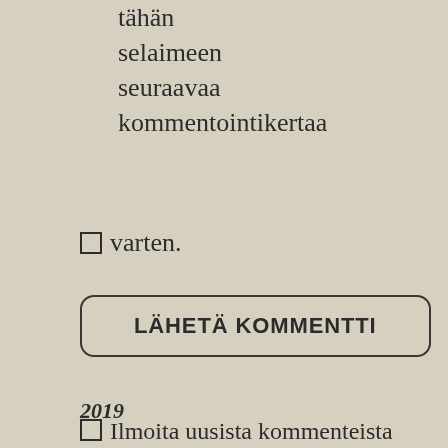tähän
selaimeen
seuraavaa
kommentointikertaa
varten.
LÄHETÄ KOMMENTTI
Ilmoita uusista kommenteista sähköpostilla.
Ilmoita uusista artikkeleista sähköpostilla.
2019